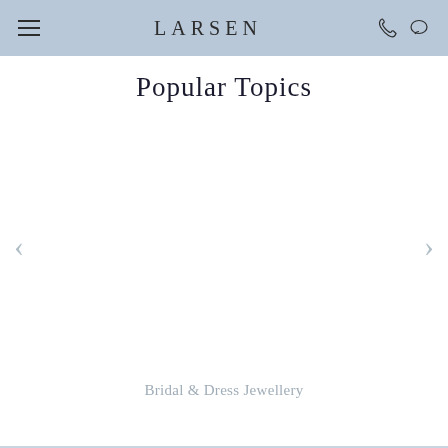LARSEN
Popular Topics
[Figure (screenshot): Carousel with navigation arrows (left and right) and a white content area for topic images]
Bridal & Dress Jewellery